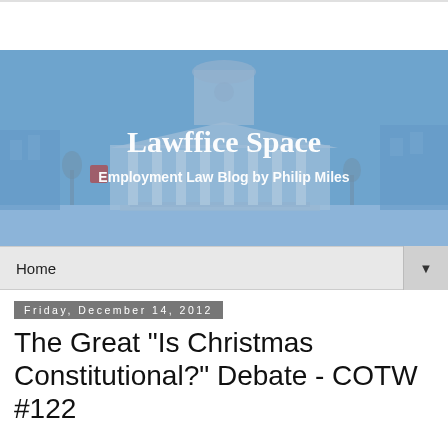[Figure (photo): Lawffice Space blog banner showing a blue-tinted courthouse building with columns and a clock tower. White text reads 'Lawffice Space' and 'Employment Law Blog by Philip Miles'.]
Home
Friday, December 14, 2012
The Great "Is Christmas Constitutional?" Debate - COTW #122